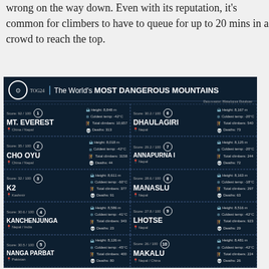wrong on the way down. Even with its reputation, it's common for climbers to have to queue for up to 20 mins in a crowd to reach the top.
[Figure (infographic): Infographic titled 'The World's MOST DANGEROUS MOUNTAINS' by TOG24, data source Himalayan Database. Shows 10 mountains in a 2-column grid with rank, score, height, coldest temp, total climbers, and deaths. Left column: 1. MT. EVEREST (Score 92/100, Height 8,848m, Coldest temp -42°C, Total climbers 10,657, Deaths 313, China/Nepal), 2. CHO OYU (Score 35/100, Height 8,018m, Coldest temp -42°C, Total climbers 3158, Deaths 44, China/Nepal), 3. K2 (Score 32/100, Height 8,611m, Coldest temp -60°C, Total climbers 377, Deaths 91, Kashmir), 4. KANCHENJUNGA (Score 30.6/100, Height 8,586m, Coldest temp -41°C, Total climbers 343, Deaths 23, Nepal/India), 5. NANGA PARBAT (Score 30.5/100, Height 8,126m, Coldest temp -45°C, Total climbers 400, Deaths 80, Pakistan). Right column: 6. DHAULAGIRI (Score 30.2/100, Height 8,167m, Coldest temp -20°C, Total climbers 540, Deaths 73, Nepal), 7. ANNAPURNA I (Score 29.2/100, Height 8,125m, Coldest temp -20°C, Total climbers 244, Deaths 72, Nepal), 8. MANASLU (Score 28.6/100, Height 8,163m, Coldest temp -18°C, Total climbers 297, Deaths 63, Nepal), 9. LHOTSE (Score 27.8/100, Height 8,516m, Coldest temp -42°C, Total climbers 923, Deaths 29, Nepal), 10. MAKALU (Score 26/100, Height 8,481m, Coldest temp -..., Total climbers 224, Deaths 26, Nepal/China)]